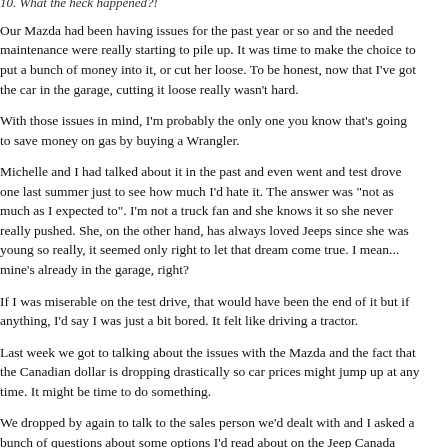10. What the heck happened?!
Our Mazda had been having issues for the past year or so and the needed maintenance were really starting to pile up. It was time to make the choice to put a bunch of money into it, or cut her loose. To be honest, now that I've got the car in the garage, cutting it loose really wasn't hard.
With those issues in mind, I'm probably the only one you know that's going to save money on gas by buying a Wrangler.
Michelle and I had talked about it in the past and even went and test drove one last summer just to see how much I'd hate it. The answer was "not as much as I expected to". I'm not a truck fan and she knows it so she never really pushed. She, on the other hand, has always loved Jeeps since she was young so really, it seemed only right to let that dream come true. I mean... mine's already in the garage, right?
If I was miserable on the test drive, that would have been the end of it but if anything, I'd say I was just a bit bored. It felt like driving a tractor.
Last week we got to talking about the issues with the Mazda and the fact that the Canadian dollar is dropping drastically so car prices might jump up at any time. It might be time to do something.
We dropped by again to talk to the sales person we'd dealt with and I asked a bunch of questions about some options I'd read about on the Jeep Canada website. He explained how most of them couldn't actually be ordered and that there seemed to be some huge disconnect between the website and the ordering system. As it turns out, what happened is that a bunch of Jeeps got sent to dealers with an option package that was then very poorly represented on the website.
As I found out later... what ACTUALLY happened is a bunch of Wranglers...